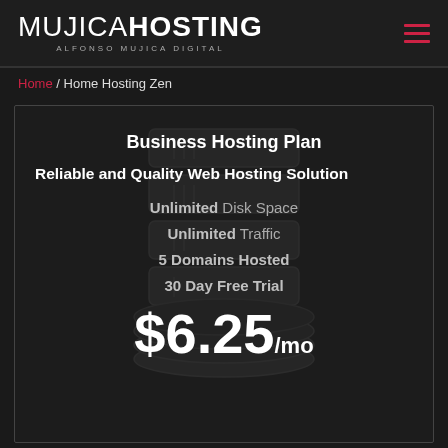MUJICA HOSTING — ALFONSO MUJICA DIGITAL
Home / Home Hosting Zen
Business Hosting Plan
Reliable and Quality Web Hosting Solution
Unlimited Disk Space
Unlimited Traffic
5 Domains Hosted
30 Day Free Trial
$6.25/mo